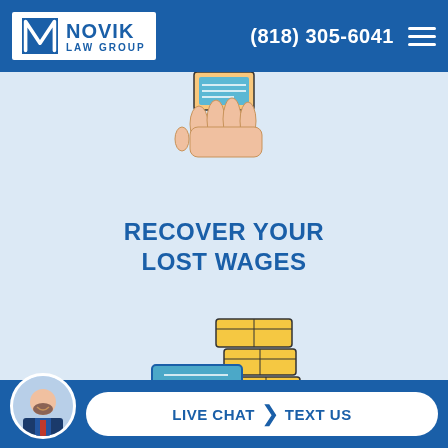NOVIK LAW GROUP | (818) 305-6041
[Figure (illustration): Partial view of a hand holding something, cropped at top of content area]
RECOVER YOUR LOST WAGES
[Figure (illustration): Icon of a hand holding a dollar-sign document/check with stacked boxes/coins behind it]
CASH ADVANCE ON YOUR CASE
LIVE CHAT | TEXT US